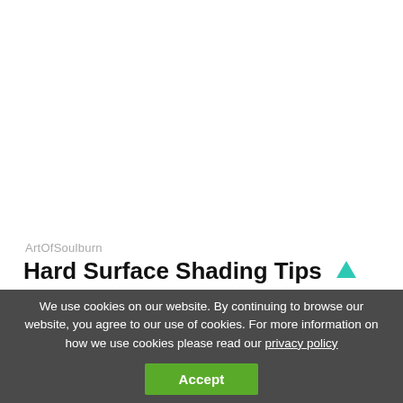ArtOfSoulburn
Hard Surface Shading Tips
We use cookies on our website. By continuing to browse our website, you agree to our use of cookies. For more information on how we use cookies please read our privacy policy
Accept